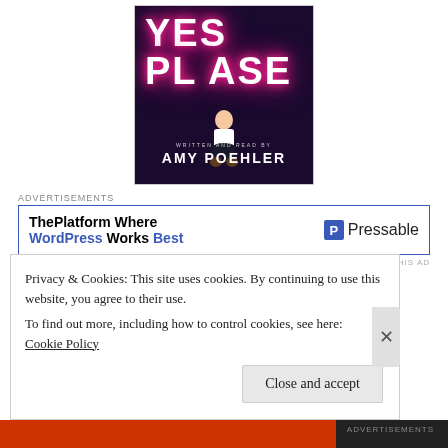[Figure (illustration): Book cover of 'Yes Please' written and read by Amy Poehler. Features neon pink text 'YES PLEASE' on a dark background with the author sitting below the text.]
Advertisements
[Figure (infographic): Advertisement for Pressable: 'ThePlatform Where WordPress Works Best' with Pressable logo on the right.]
REPORT THIS AD
YES, PLEASE
Privacy & Cookies: This site uses cookies. By continuing to use this website, you agree to their use.
To find out more, including how to control cookies, see here: Cookie Policy
Close and accept